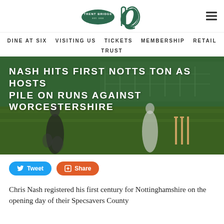[Figure (logo): Trent Bridge cricket club logo with oval badge and monogram]
DINE AT SIX   VISITING US   TICKETS   MEMBERSHIP   RETAIL   TRUST
[Figure (photo): Cricket players on pitch at Trent Bridge with wicket stumps visible, green tinted overlay with headline text: NASH HITS FIRST NOTTS TON AS HOSTS PILE ON RUNS AGAINST WORCESTERSHIRE]
Tweet  Share
Chris Nash registered his first century for Nottinghamshire on the opening day of their Specsavers County